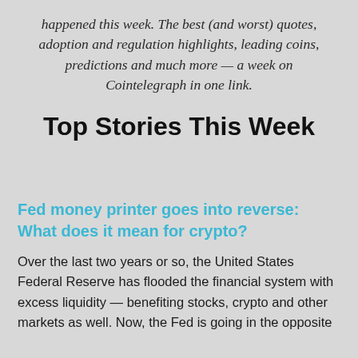happened this week. The best (and worst) quotes, adoption and regulation highlights, leading coins, predictions and much more — a week on Cointelegraph in one link.
Top Stories This Week
Fed money printer goes into reverse: What does it mean for crypto?
Over the last two years or so, the United States Federal Reserve has flooded the financial system with excess liquidity — benefiting stocks, crypto and other markets as well. Now, the Fed is going in the opposite